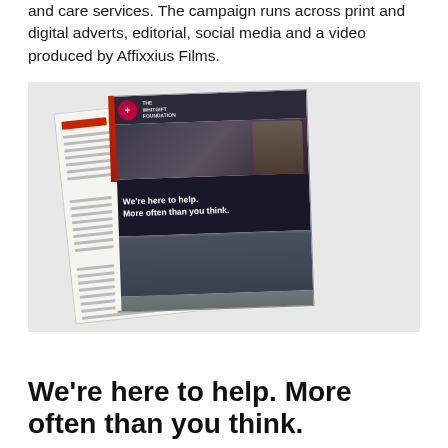and care services. The campaign runs across print and digital adverts, editorial, social media and a video produced by Affixxius Films.
[Figure (photo): A magazine mockup showing a Whitgift Foundation campaign ad with the text 'We're here to help. More often than you think.' alongside photos of young people and an older person, with the website whitgiftfoundation.co.uk and #HelpingCroydon hashtag visible.]
We're here to help. More often than you think.